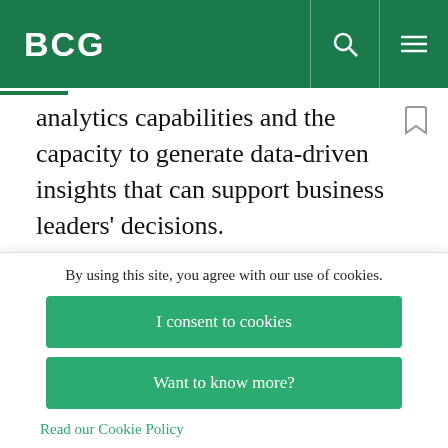BCG
analytics capabilities and the capacity to generate data-driven insights that can support business leaders' decisions.
Unfortunately, this is still a future vision for many
By using this site, you agree with our use of cookies.
I consent to cookies
Want to know more?
Read our Cookie Policy